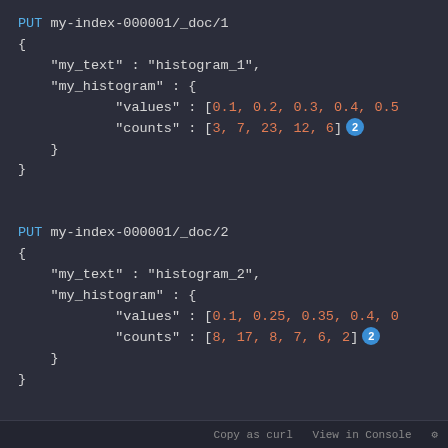PUT my-index-000001/_doc/1
{
    "my_text" : "histogram_1",
    "my_histogram" : {
            "values" : [0.1, 0.2, 0.3, 0.4, 0.5
            "counts" : [3, 7, 23, 12, 6]
    }
}

PUT my-index-000001/_doc/2
{
    "my_text" : "histogram_2",
    "my_histogram" : {
            "values" : [0.1, 0.25, 0.35, 0.4, 0
            "counts" : [8, 17, 8, 7, 6, 2]
    }
}
Copy as curl View in Console